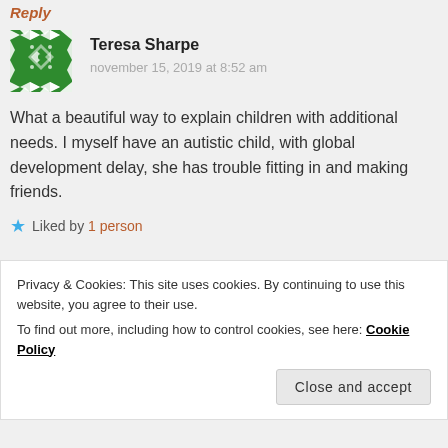Reply
Teresa Sharpe
november 15, 2019 at 8:52 am
What a beautiful way to explain children with additional needs. I myself have an autistic child, with global development delay, she has trouble fitting in and making friends.
Liked by 1 person
Privacy & Cookies: This site uses cookies. By continuing to use this website, you agree to their use. To find out more, including how to control cookies, see here: Cookie Policy